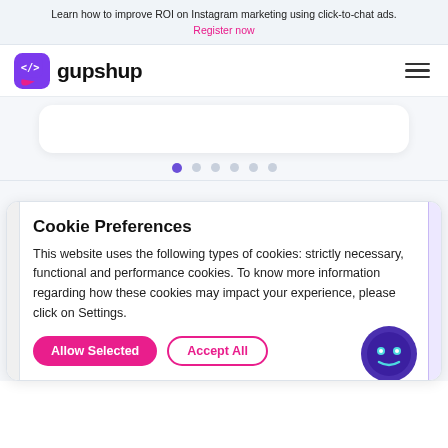Learn how to improve ROI on Instagram marketing using click-to-chat ads. Register now
[Figure (logo): Gupshup logo with purple speech bubble icon containing code brackets and 'gupshup' text]
[Figure (other): Horizontal navigation hamburger menu (three lines)]
[Figure (other): Carousel slider dots: one active purple dot followed by five grey dots]
Cookie Preferences
This website uses the following types of cookies: strictly necessary, functional and performance cookies. To know more information regarding how these cookies may impact your experience, please click on Settings.
Allow Selected
Accept All